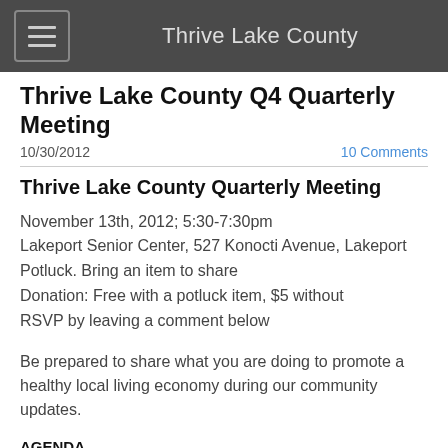Thrive Lake County
Thrive Lake County Q4 Quarterly Meeting
10/30/2012
10 Comments
Thrive Lake County Quarterly Meeting
November 13th, 2012; 5:30-7:30pm
Lakeport Senior Center, 527 Konocti Avenue, Lakeport
Potluck. Bring an item to share
Donation: Free with a potluck item, $5 without
RSVP by leaving a comment below
Be prepared to share what you are doing to promote a healthy local living economy during our community updates.
AGENDA
5:30 Networking